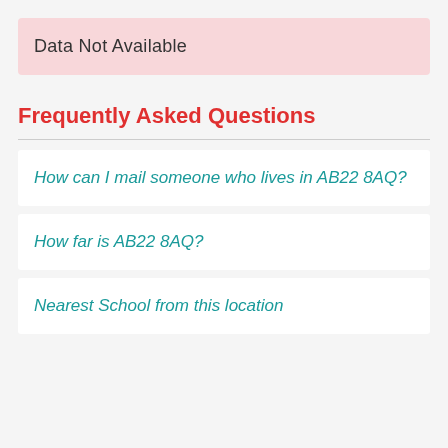Data Not Available
Frequently Asked Questions
How can I mail someone who lives in AB22 8AQ?
How far is AB22 8AQ?
Nearest School from this location